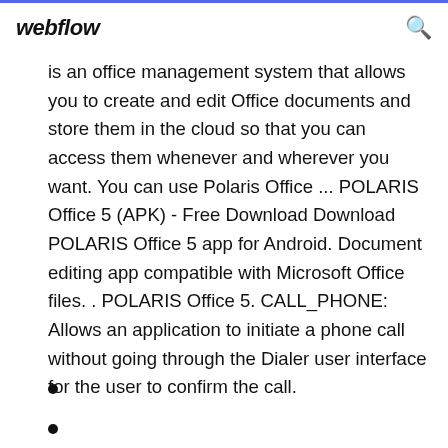webflow
is an office management system that allows you to create and edit Office documents and store them in the cloud so that you can access them whenever and wherever you want. You can use Polaris Office ... POLARIS Office 5 (APK) - Free Download Download POLARIS Office 5 app for Android. Document editing app compatible with Microsoft Office files. . POLARIS Office 5. CALL_PHONE: Allows an application to initiate a phone call without going through the Dialer user interface for the user to confirm the call.